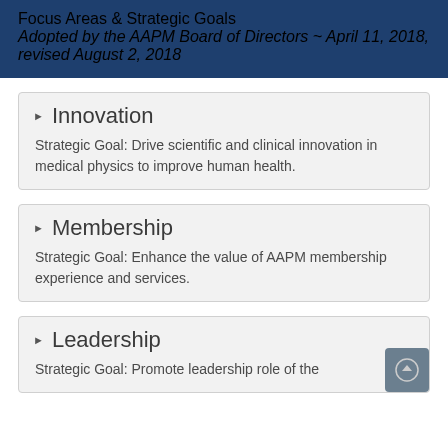Focus Areas & Strategic Goals
Adopted by the AAPM Board of Directors ~ April 11, 2018, revised August 2, 2018
Innovation
Strategic Goal: Drive scientific and clinical innovation in medical physics to improve human health.
Membership
Strategic Goal: Enhance the value of AAPM membership experience and services.
Leadership
Strategic Goal: Promote leadership role of the